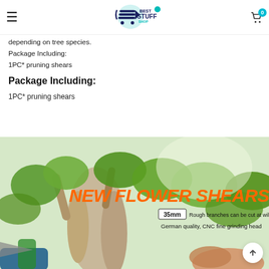Best Stuff Shop — navigation header with hamburger menu and cart icon (badge: 0)
depending on tree species.
Package Including:
1PC* pruning shears
Package Including:
1PC* pruning shears
[Figure (photo): Product photo of pruning shears / flower shears in use near a tree with green leaves. Overlay text in orange: 'NEW FLOWER SHEARS'. Label showing '35mm' with text 'Rough branches can be cut at will'. Text: 'German quality, CNC fine grinding head'.]